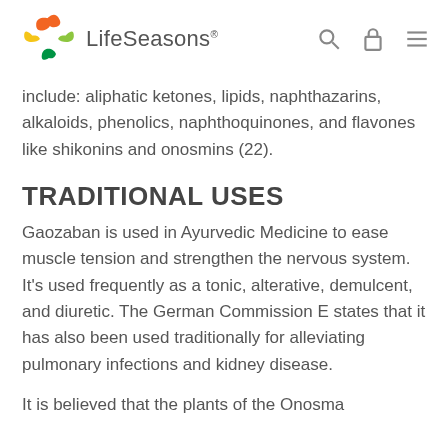LifeSeasons
include: aliphatic ketones, lipids, naphthazarins, alkaloids, phenolics, naphthoquinones, and flavones like shikonins and onosmins (22).
TRADITIONAL USES
Gaozaban is used in Ayurvedic Medicine to ease muscle tension and strengthen the nervous system.  It’s used frequently as a tonic, alterative, demulcent, and diuretic. The German Commission E states that it has also been used traditionally for alleviating pulmonary infections and kidney disease.
It is believed that the plants of the Onosma